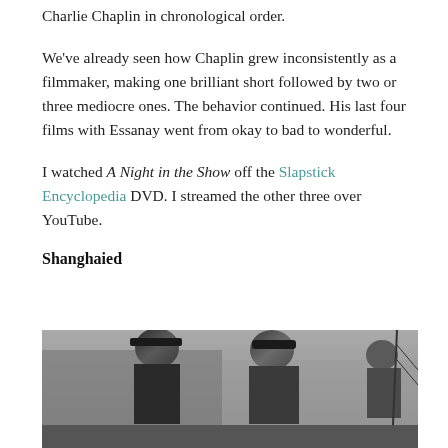Charlie Chaplin in chronological order.
We've already seen how Chaplin grew inconsistently as a filmmaker, making one brilliant short followed by two or three mediocre ones. The behavior continued. His last four films with Essanay went from okay to bad to wonderful.
I watched A Night in the Show off the Slapstick Encyclopedia DVD. I streamed the other three over YouTube.
Shanghaied
[Figure (photo): Black and white still photograph from the film Shanghaied, showing two men in early 20th century clothing outdoors, likely on a dock or ship setting.]